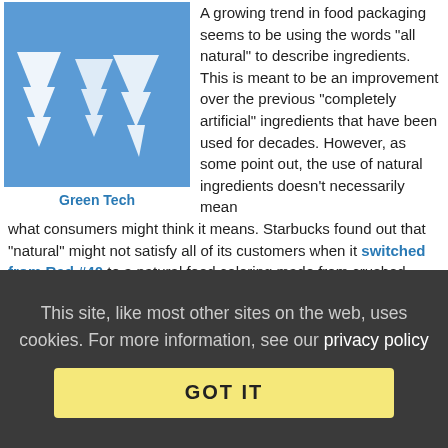[Figure (photo): White paper cut-out trees on blue background]
Green Tech
A growing trend in food packaging seems to be using the words “all natural” to describe ingredients. This is meant to be an improvement over the previous “completely artificial” ingredients that have been used for decades. However, as some point out, the use of natural ingredients doesn’t necessarily mean what consumers might think it means. Starbucks found out that “natural” might not satisfy all of its customers when it switched from Red #40 to a natural food coloring made from crushed insects. Those crushed insects aren’t harmful, but that’s not exactly what folks were expecting from a “natural” ingredient, either.
Pizza Hut and Taco Bell (both owned by Yum Brands) have announced plans to get rid of artificial col...
13 Comments
This site, like most other sites on the web, uses cookies. For more information, see our privacy policy
GOT IT